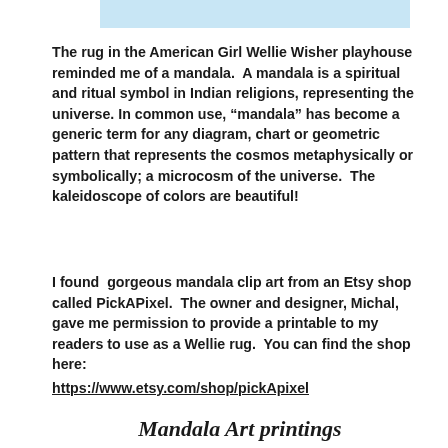[Figure (other): Light blue decorative bar at the top of the page]
The rug in the American Girl Wellie Wisher playhouse reminded me of a mandala.  A mandala is a spiritual and ritual symbol in Indian religions, representing the universe. In common use, “mandala” has become a generic term for any diagram, chart or geometric pattern that represents the cosmos metaphysically or symbolically; a microcosm of the universe.  The kaleidoscope of colors are beautiful!
I found  gorgeous mandala clip art from an Etsy shop called PickAPixel.  The owner and designer, Michal, gave me permission to provide a printable to my readers to use as a Wellie rug.  You can find the shop here:
https://www.etsy.com/shop/pickApixel
Mandala Art printings